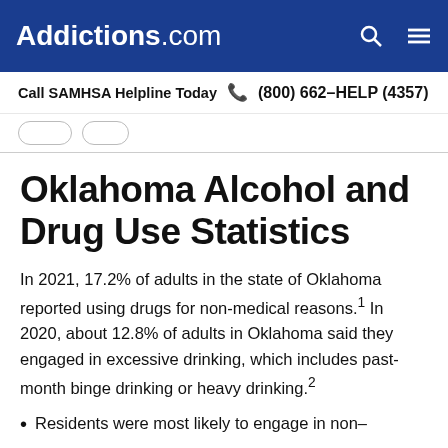Addictions.com
Call SAMHSA Helpline Today  (800) 662-HELP (4357)
Oklahoma Alcohol and Drug Use Statistics
In 2021, 17.2% of adults in the state of Oklahoma reported using drugs for non-medical reasons.1 In 2020, about 12.8% of adults in Oklahoma said they engaged in excessive drinking, which includes past-month binge drinking or heavy drinking.2
Residents were most likely to engage in non-